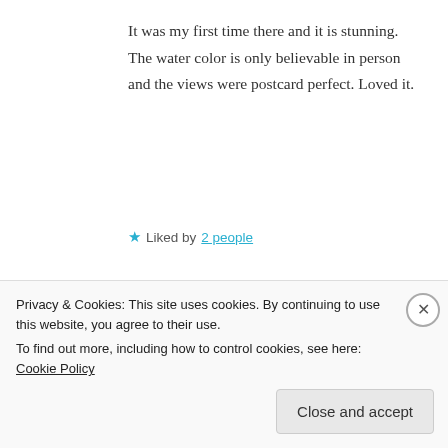It was my first time there and it is stunning. The water color is only believable in person and the views were postcard perfect. Loved it.
★ Liked by 2 people
REPLY
t.e.d.d.y.
Privacy & Cookies: This site uses cookies. By continuing to use this website, you agree to their use. To find out more, including how to control cookies, see here: Cookie Policy
Close and accept